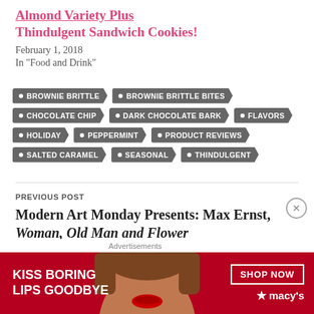Thindulgent Sandwich Cookies!
February 1, 2018
In "Food and Drink"
BROWNIE BRITTLE
BROWNIE BRITTLE BITES
CHOCOLATE CHIP
DARK CHOCOLATE BARK
FLAVORS
HOLIDAY
PEPPERMINT
PRODUCT REVIEWS
SALTED CARAMEL
SEASONAL
THINDULGENT
PREVIOUS POST
Modern Art Monday Presents: Max Ernst, Woman, Old Man and Flower
[Figure (photo): Macy's advertisement banner: 'KISS BORING LIPS GOODBYE' with SHOP NOW button and Macy's logo, featuring woman's face with red lips]